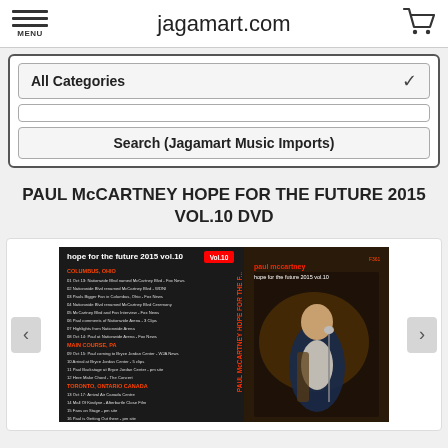jagamart.com
[Figure (screenshot): Website search bar with All Categories dropdown and Search (Jagamart Music Imports) button]
PAUL McCARTNEY HOPE FOR THE FUTURE 2015 VOL.10 DVD
[Figure (photo): DVD cover image for Paul McCartney Hope for the Future 2015 vol.10 showing tracklist on left panel and Paul McCartney performing on right panel]